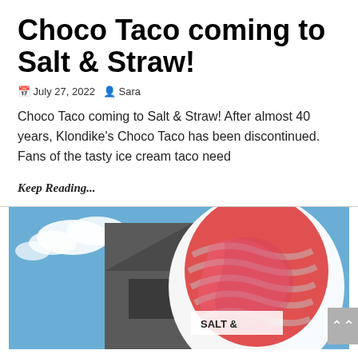Choco Taco coming to Salt & Straw!
July 27, 2022  Sara
Choco Taco coming to Salt & Straw! After almost 40 years, Klondike's Choco Taco has been discontinued. Fans of the tasty ice cream taco need
Keep Reading...
[Figure (photo): Exterior photo of Salt & Straw ice cream shop building with large pink and red striped ice cream cone sign reading 'Salt &' visible against a blue sky with clouds]